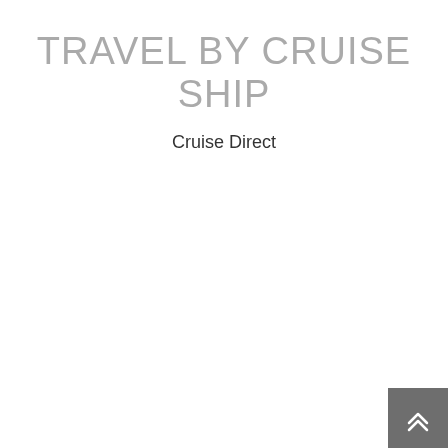TRAVEL BY CRUISE SHIP
Cruise Direct